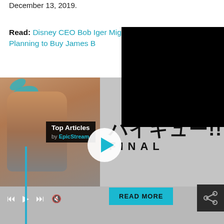December 13, 2019.
Read: Disney CEO Bob Iger Might be Planning to Buy James B
[Figure (screenshot): A media widget showing an anime character (from Haikyuu) on the left with a 'Top Articles by EpicStream' badge, Japanese text and 'FINAL' logo on the right, a play button in the center, media playback controls at the bottom, a cyan 'READ MORE' button, and a share icon button. A black overlay covers the top-right corner of the page.]